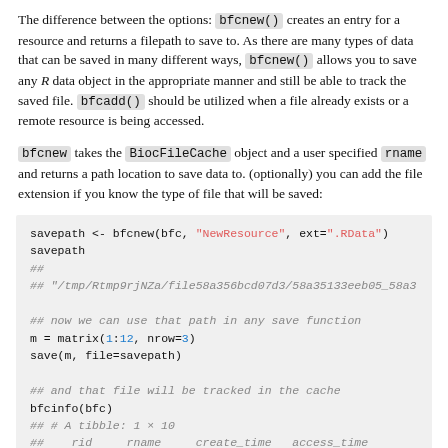The difference between the options: bfcnew() creates an entry for a resource and returns a filepath to save to. As there are many types of data that can be saved in many different ways, bfcnew() allows you to save any R data object in the appropriate manner and still be able to track the saved file. bfcadd() should be utilized when a file already exists or a remote resource is being accessed.
bfcnew takes the BiocFileCache object and a user specified rname and returns a path location to save data to. (optionally) you can add the file extension if you know the type of file that will be saved:
[Figure (screenshot): R code block showing: savepath <- bfcnew(bfc, 'NewResource', ext='.RData'), savepath, ## output path, ## now we can use that path in any save function, m = matrix(1:12, nrow=3), save(m, file=savepath), ## and that file will be tracked in the cache, bfcinfo(bfc), ## # A tibble: 1 x 10, ## rid rname create_time access_time rpath rtype f, ## <chr> <chr> <chr> <chr> <chr> <chr> <]